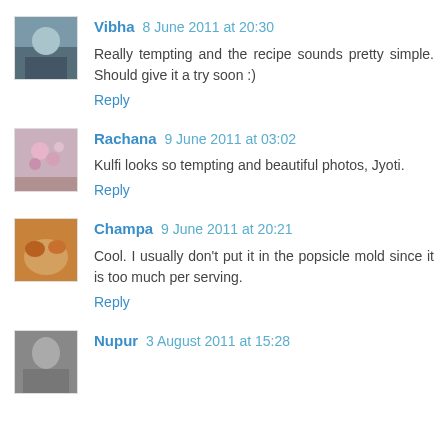[Figure (photo): Avatar of commenter Vibha - small profile photo]
Vibha 8 June 2011 at 20:30
Really tempting and the recipe sounds pretty simple. Should give it a try soon :)
Reply
[Figure (photo): Avatar of commenter Rachana - small profile photo with flowers]
Rachana 9 June 2011 at 03:02
Kulfi looks so tempting and beautiful photos, Jyoti.
Reply
[Figure (photo): Avatar of commenter Champa - small profile photo with food]
Champa 9 June 2011 at 20:21
Cool. I usually don't put it in the popsicle mold since it is too much per serving.
Reply
[Figure (photo): Avatar of commenter Nupur - small profile photo]
Nupur 3 August 2011 at 15:28